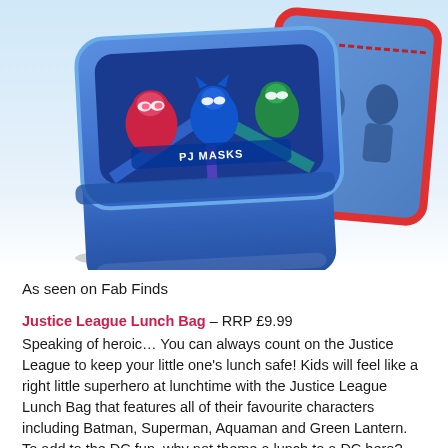[Figure (photo): Product photo showing a blue PJ Masks lunch box/food container with a decorated lid featuring cartoon characters, alongside what appears to be a blue and red lunch bag in the background. The container is blue plastic with a snap-on lid decorated with PJ Masks characters on a blue background.]
As seen on Fab Finds
Justice League Lunch Bag – RRP £9.99
Speaking of heroic... You can always count on the Justice League to keep your little one's lunch safe! Kids will feel like a right little superhero at lunchtime with the Justice League Lunch Bag that features all of their favourite characters including Batman, Superman, Aquaman and Green Lantern. To add to the DC fun, why not theme a lunch to a DC hero? Think tuna sandwiches, carrot batons and green apples for Aquaman; strawberry jam